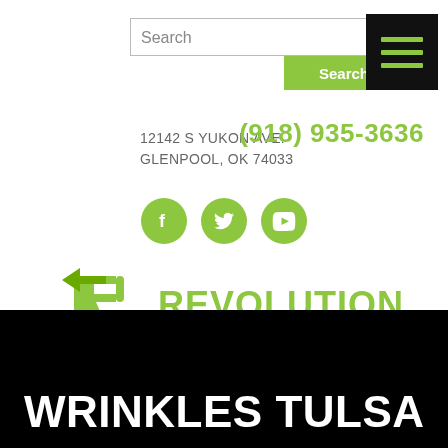[Figure (screenshot): Search input box with placeholder text 'Search' and a green Search button below]
[Figure (other): Black hamburger menu icon with three green horizontal lines]
12142 S YUKON AVE.
GLENPOOL, OK 74033
(918) 935-3636
[Figure (other): Three green circular social media icons: Facebook, Twitter, YouTube]
[Figure (logo): Revolution Health & Wellness logo with green stylized R arrow and bold green REVOLUTION text with dark HEALTH & WELLNESS subtitle]
WRINKLES TULSA